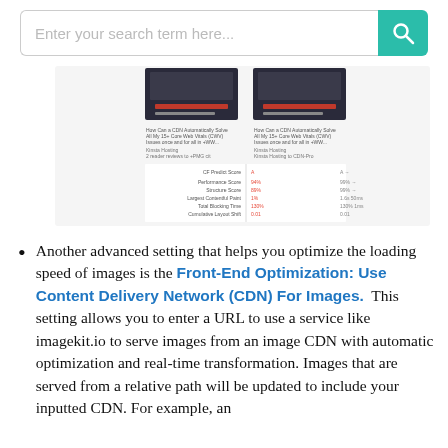[Figure (screenshot): Search bar UI element with placeholder text 'Enter your search term here...' and a teal search button with magnifying glass icon]
[Figure (screenshot): Screenshot of a web performance comparison table showing metrics like CF Predict Score, Performance Score, Structure Score, Largest Contentful Paint, Total Blocking Time, Cumulative Layout Shift for two CDN configurations]
Another advanced setting that helps you optimize the loading speed of images is the Front-End Optimization: Use Content Delivery Network (CDN) For Images. This setting allows you to enter a URL to use a service like imagekit.io to serve images from an image CDN with automatic optimization and real-time transformation. Images that are served from a relative path will be updated to include your inputted CDN. For example, an